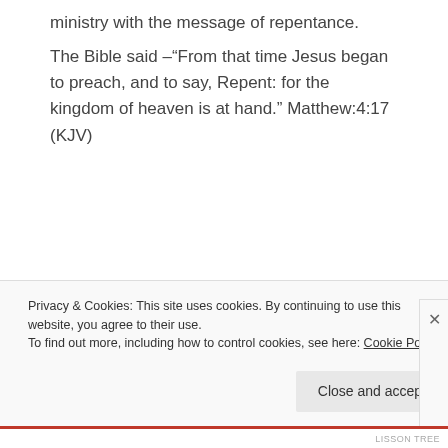ministry with the message of repentance.
The Bible said –“From that time Jesus began to preach, and to say, Repent: for the kingdom of heaven is at hand.” Matthew:4:17 (KJV)
Privacy & Cookies: This site uses cookies. By continuing to use this website, you agree to their use.
To find out more, including how to control cookies, see here: Cookie Policy
Close and accept